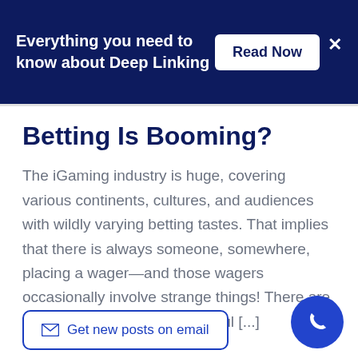Everything you need to know about Deep Linking
Betting Is Booming?
The iGaming industry is huge, covering various continents, cultures, and audiences with wildly varying betting tastes. That implies that there is always someone, somewhere, placing a wager—and those wagers occasionally involve strange things! There are some very bizarre and beautiful [...]
Get new posts on email